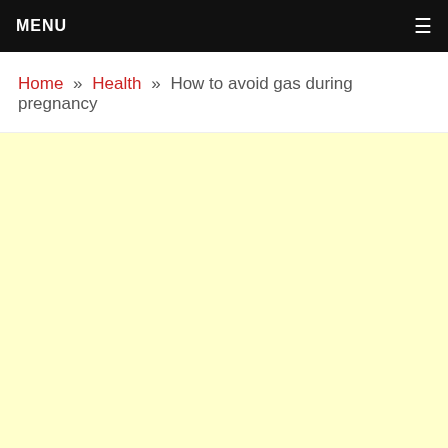MENU
Home » Health » How to avoid gas during pregnancy
[Figure (other): Light yellow advertisement or content placeholder area]